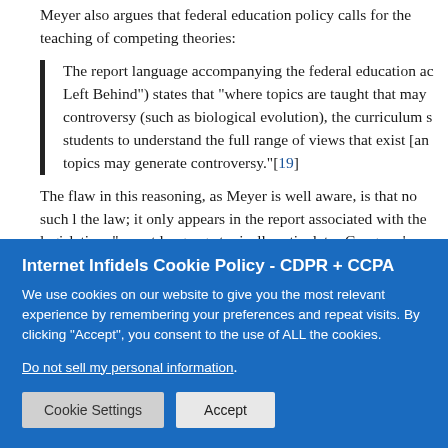Meyer also argues that federal education policy calls for the teaching of competing theories:
The report language accompanying the federal education ac Left Behind") states that “where topics are taught that may controversy (such as biological evolution), the curriculum s students to understand the full range of views that exist [an topics may generate controversy.”[19]
The flaw in this reasoning, as Meyer is well aware, is that no such l the law; it only appears in the report associated with the legislation. “report language typically articulates Congress’s interpretation of la implementation. As such, report language expresses federal policy a of law.”[20] This last bit is simply untrue. Reports accompanying fe
Internet Infidels Cookie Policy - CDPR + CCPA
We use cookies on our website to give you the most relevant experience by remembering your preferences and repeat visits. By clicking “Accept”, you consent to the use of ALL the cookies.
Do not sell my personal information.
Cookie Settings
Accept